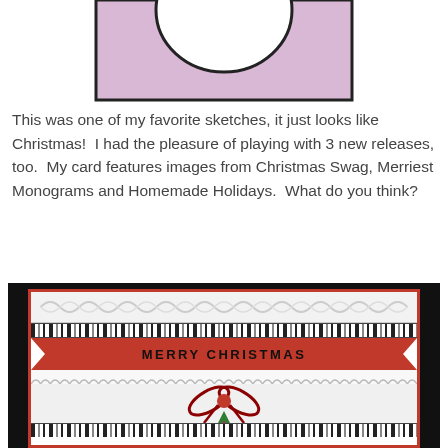[Figure (illustration): Partial view of a card layout sketch showing a rectangular frame with a large white circle/oval on a lavender/pink background]
This was one of my favorite sketches, it just looks like Christmas!  I had the pleasure of playing with 3 new releases, too.  My card features images from Christmas Swag, Merriest Monograms and Homemade Holidays.  What do you think?
[Figure (photo): A handmade Christmas card with a MERRY CHRISTMAS banner in red with dark text, embossed white layers, decorative black patterned strips, and a red ribbon/bow with a small Christmas tree image, on a black background]